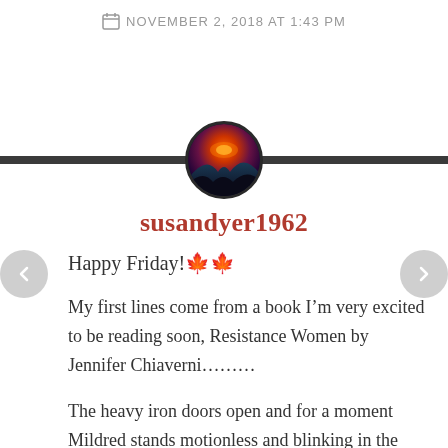NOVEMBER 2, 2018 AT 1:43 PM
[Figure (photo): Circular avatar image showing a sunset landscape with orange and red sky over mountains/hills, set against a dark horizontal divider bar across the page.]
susandyer1962
Happy Friday!🍁🍁
My first lines come from a book I'm very excited to be reading soon, Resistance Women by Jennifer Chiaverni………
The heavy iron doors open and for a moment Mildred stands motionless and blinking in the sunlight, breathless from the sudden rush of cool,